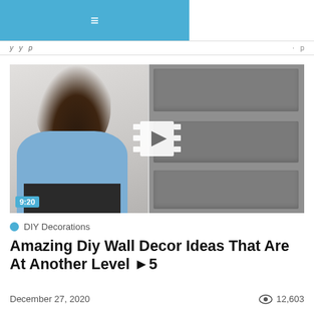≡ (navigation menu bar)
[Figure (screenshot): Video thumbnail showing a woman with long dark curly hair wearing a blue top, installing fabric wall panels. Right side shows gray upholstered wall panels. A film-strip play button icon is centered. Duration badge shows 9:20 in bottom left corner.]
DIY Decorations
Amazing Diy Wall Decor Ideas That Are At Another Level ▶5
December 27, 2020
12,603